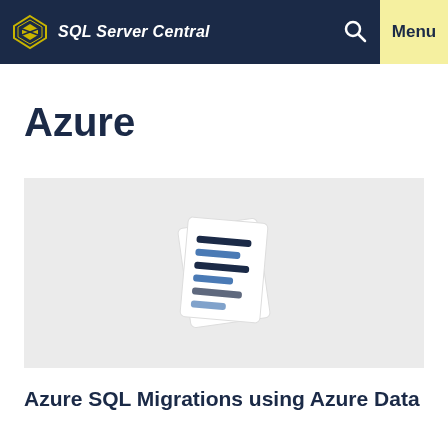SQL Server Central
Azure
[Figure (illustration): Document/article illustration icon showing stacked pages with blue text lines on a light gray background]
Azure SQL Migrations using Azure Data